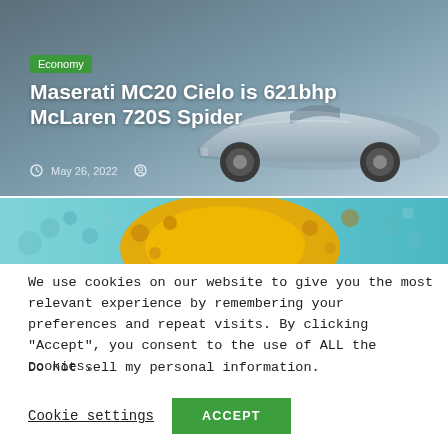[Figure (photo): Hero image of a silver Maserati MC20 Cielo convertible sports car on a grey gradient background, with green Economy tag, white bold headline, date and author icons]
[Figure (photo): Partial banner image showing a yellow abstract shape on a turquoise/blue background, likely an advertisement]
We use cookies on our website to give you the most relevant experience by remembering your preferences and repeat visits. By clicking “Accept”, you consent to the use of ALL the cookies.
Do not sell my personal information.
Cookie settings
ACCEPT